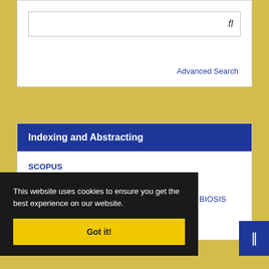fl
Advanced Search
Indexing and Abstracting
SCOPUS
SCImago Journal & Country Rank (SJR)
WoS (Master Journal List- Biological Abstracts- BIOSIS Previews)
Iran Journal (ISC)
This website uses cookies to ensure you get the best experience on our website.
Got it!